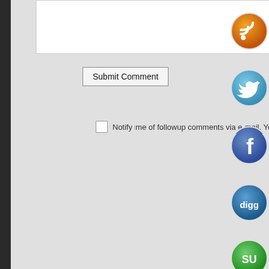[Figure (screenshot): Comment form area with a text input box at top, a Submit Comment button, and a checkbox with notification text. Social media icons (RSS, Twitter, Facebook, Digg, StumbleUpon) are displayed on the right side.]
Submit Comment
Notify me of followup comments via e-mail. You can also subscribe wi...t c...